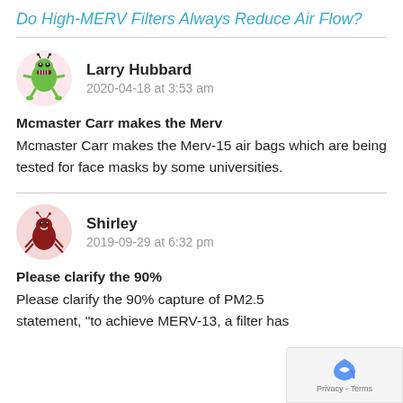Do High-MERV Filters Always Reduce Air Flow?
Larry Hubbard
2020-04-18 at 3:53 am
Mcmaster Carr makes the Merv
Mcmaster Carr makes the Merv-15 air bags which are being tested for face masks by some universities.
Shirley
2019-09-29 at 6:32 pm
Please clarify the 90%
Please clarify the 90% capture of PM2.5 statement, "to achieve MERV-13, a filter has